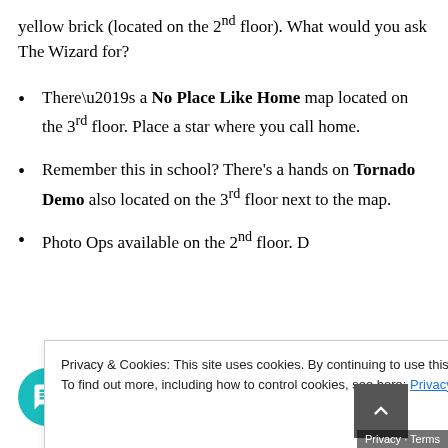yellow brick (located on the 2nd floor). What would you ask The Wizard for?
There’s a No Place Like Home map located on the 3rd floor. Place a star where you call home.
Remember this in school? There’s a hands on Tornado Demo also located on the 3rd floor next to the map.
Photo Ops available on the 2nd floor. D…
Privacy & Cookies: This site uses cookies. By continuing to use this website, you agree to their use. To find out more, including how to control cookies, see here: Privacy Policy